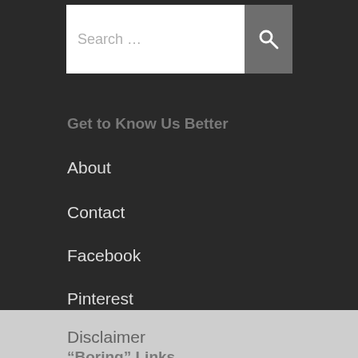[Figure (screenshot): Search bar with white input field containing placeholder text 'Search ...' and a dark grey button with a magnifying glass icon]
Get to Know Us Better
About
Contact
Facebook
Pinterest
“Boring” Links
Disclaimer